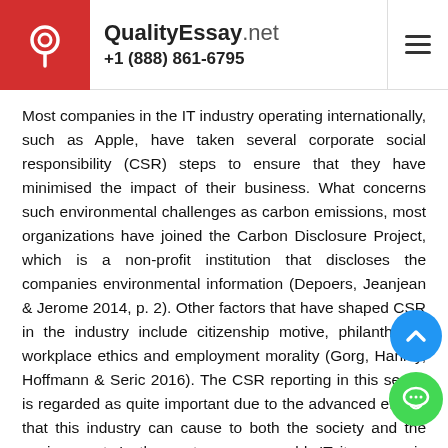QualityEssay.net +1 (888) 861-6795
Most companies in the IT industry operating internationally, such as Apple, have taken several corporate social responsibility (CSR) steps to ensure that they have minimised the impact of their business. What concerns such environmental challenges as carbon emissions, most organizations have joined the Carbon Disclosure Project, which is a non-profit institution that discloses the companies environmental information (Depoers, Jeanjean & Jerome 2014, p. 2). Other factors that have shaped CSR in the industry include citizenship motive, philanthropy, workplace ethics and employment morality (Gorg, Hanley, Hoffmann & Seric 2016). The CSR reporting in this sector is regarded as quite important due to the advanced effects that this industry can cause to both the society and the environment. In the contemporary world, IT items are in high demand; that any company in this industry must produce its offerings with due care to ensure no harm to the society. Thus, this report will present the analysis and reflections on the